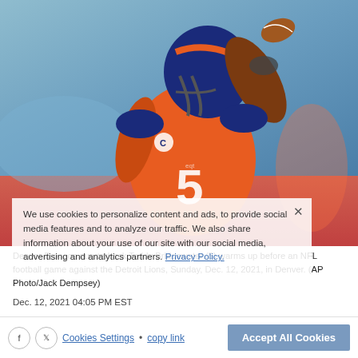[Figure (photo): Denver Broncos quarterback Teddy Bridgewater (#5) in orange jersey with a captain's C patch, wearing a blue and orange helmet, winding up to throw a football, blue sky background.]
We use cookies to personalize content and ads, to provide social media features and to analyze our traffic. We also share information about your use of our site with our social media, advertising and analytics partners. Privacy Policy.
Denver Broncos quarterback Teddy Bridgewater (5) warms up before an NFL football game against the Detroit Lions, Sunday, Dec. 12, 2021, in Denver. (AP Photo/Jack Dempsey)
Dec. 12, 2021 04:05 PM EST